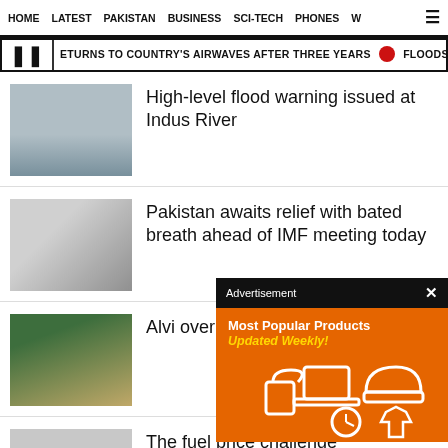HOME  LATEST  PAKISTAN  BUSINESS  SCI-TECH  PHONES  W
ETURNS TO COUNTRY'S AIRWAVES AFTER THREE YEARS  •  FLOODS, RAINS KILL OV
High-level flood warning issued at Indus River
Pakistan awaits relief with bated breath ahead of IMF meeting today
Alvi overrules decision
[Figure (other): Advertisement overlay showing 'Most Popular Products Updated Weekly!' on orange background with shopping icons]
The fuel price challenge